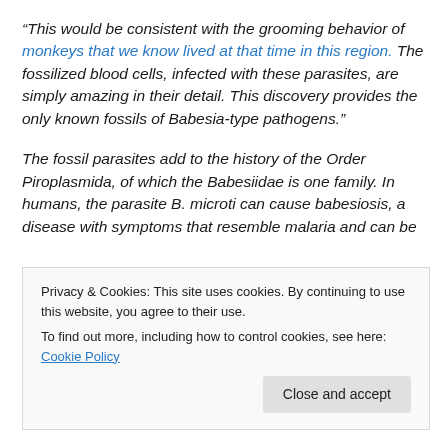“This would be consistent with the grooming behavior of monkeys that we know lived at that time in this region. The fossilized blood cells, infected with these parasites, are simply amazing in their detail. This discovery provides the only known fossils of Babesia-type pathogens.”
The fossil parasites add to the history of the Order Piroplasmida, of which the Babesiidae is one family. In humans, the parasite B. microti can cause babesiosis, a disease with symptoms that resemble malaria and can be
Privacy & Cookies: This site uses cookies. By continuing to use this website, you agree to their use. To find out more, including how to control cookies, see here: Cookie Policy